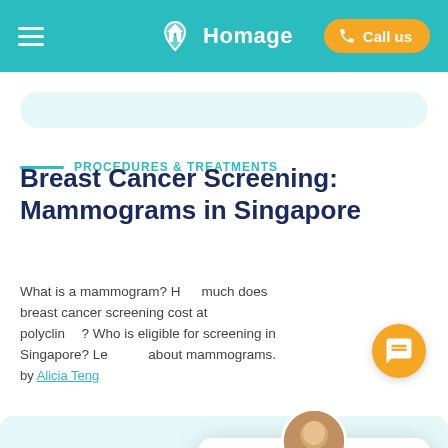Homage — Call us
PROCEDURES & TREATMENTS
Breast Cancer Screening: Mammograms in Singapore
What is a mammogram? How much does breast cancer screening cost at polyclinics? Who is eligible for screening in Singapore? Learn all about mammograms.
by Alicia Teng
[Figure (screenshot): Chat popup from Homage with avatar of Daphne and message: Hi, I'm Daphne from Homage! Are you looking for care for yourself or a loved one?]